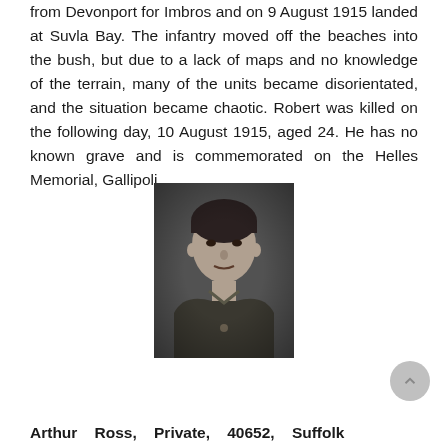from Devonport for Imbros and on 9 August 1915 landed at Suvla Bay. The infantry moved off the beaches into the bush, but due to a lack of maps and no knowledge of the terrain, many of the units became disorientated, and the situation became chaotic. Robert was killed on the following day, 10 August 1915, aged 24. He has no known grave and is commemorated on the Helles Memorial, Gallipoli.
[Figure (photo): Black and white portrait photograph of a soldier in military uniform]
Arthur Ross, Private, 40652, Suffolk